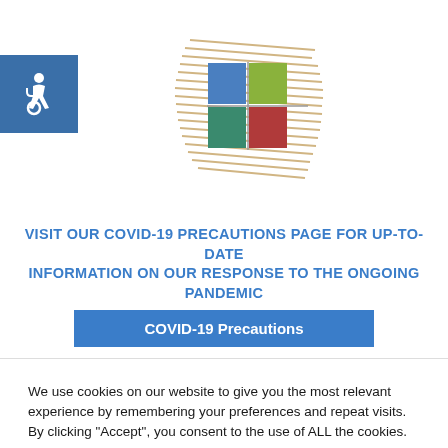[Figure (logo): Accessibility icon: wheelchair symbol in blue square]
[Figure (logo): Organization logo with colored quadrant squares (blue, green, teal, red) on a crosshatch tan background]
VISIT OUR COVID-19 PRECAUTIONS PAGE FOR UP-TO-DATE INFORMATION ON OUR RESPONSE TO THE ONGOING PANDEMIC
COVID-19 Precautions
We use cookies on our website to give you the most relevant experience by remembering your preferences and repeat visits. By clicking “Accept”, you consent to the use of ALL the cookies.
Do not sell my personal information.
Cookie Settings
Accept